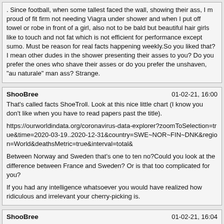. Since football, when some tallest faced the wall, showing their ass, I m proud of fit firm not needing Viagra under shower and when I put off towel or robe in front of a girl, also not to be bald but beautiful hair girls like to touch and not fat which is not efficient for performance except sumo. Must be reason for real facts happening weekly.So you liked that? I mean other dudes in the shower presenting their asses to you? Do you prefer the ones who shave their asses or do you prefer the unshaven, "au naturale" man ass? Strange.
ShooBree	01-02-21, 16:00
That's called facts ShoeTroll. Look at this nice little chart (I know you don't like when you have to read papers past the title).

https://ourworldindata.org/coronavirus-data-explorer?zoomToSelection=true&time=2020-03-19..2020-12-31&country=SWE~NOR~FIN~DNK&region=World&deathsMetric=true&interval=total&

Between Norway and Sweden that's one to ten no?Could you look at the difference between France and Sweden? Or is that too complicated for you?

If you had any intelligence whatsoever you would have realized how ridiculous and irrelevant your cherry-picking is.
ShooBree	01-02-21, 16:04
You should consider a menage a trois with WorthingVaginalBehavior and ShoeTroll.

You'll do a dick contest under the shower!Highly disturbing that your obsession of me turned sexual.

You're not only a pathetic troll, you're also a coward. I guess I shouldn't be surprised given the history and reputation of France.